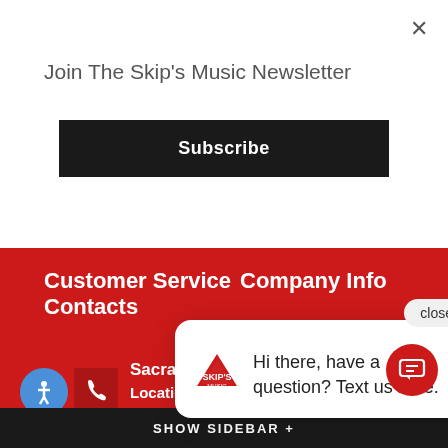Join The Skip's Music Newsletter
Subscribe
Customer Service Contacts
Company Info
> About Skip's Music
> Work @ Skip's
> Privacy Policy & Site Terms
Sacramento Location
(916) 48…
Elk Gro…
(916) 6…
Contact Skip's
Concert & Event Pro…
Instrument and Equ…
Rental
[Figure (screenshot): Chat popup with Skip's Music logo saying 'Hi there, have a question? Text us here.' with a close button]
SHOW SIDEBAR +